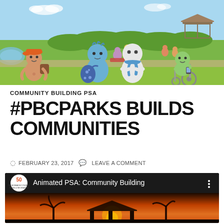[Figure (illustration): Animated cartoon scene in a park with various colorful blob-like characters. One character in orange hat carries a bag, two characters in center (blue one with polka-dot bag, white one with blue scarf), and a green character in a wheelchair on the right. Background shows green grass, trees, a pavilion/gazebo, a pond, and small background characters on a picnic blanket.]
COMMUNITY BUILDING PSA
#PBCPARKS BUILDS COMMUNITIES
FEBRUARY 23, 2017   LEAVE A COMMENT
[Figure (screenshot): YouTube video thumbnail/player for 'Animated PSA: Community Building' by PBC Parks (50th anniversary logo). The thumbnail shows a cartoon pavilion/gazebo scene at sunset with palm trees and an orange/red sky.]